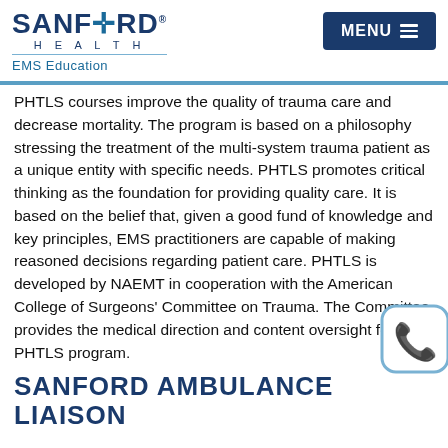[Figure (logo): Sanford Health logo with EMS Education subtitle]
[Figure (screenshot): MENU button with hamburger lines in dark navy blue]
PHTLS courses improve the quality of trauma care and decrease mortality. The program is based on a philosophy stressing the treatment of the multi-system trauma patient as a unique entity with specific needs. PHTLS promotes critical thinking as the foundation for providing quality care. It is based on the belief that, given a good fund of knowledge and key principles, EMS practitioners are capable of making reasoned decisions regarding patient care. PHTLS is developed by NAEMT in cooperation with the American College of Surgeons' Committee on Trauma. The Committee provides the medical direction and content oversight for the PHTLS program.
[Figure (illustration): Phone/call icon in a rounded square bubble with light blue border]
SANFORD AMBULANCE LIAISON